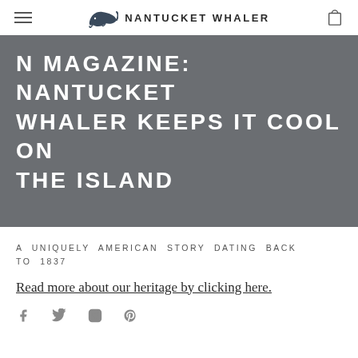NANTUCKET WHALER
N MAGAZINE: NANTUCKET WHALER KEEPS IT COOL ON THE ISLAND
A UNIQUELY AMERICAN STORY DATING BACK TO 1837
Read more about our heritage by clicking here.
[Figure (infographic): Social media icons: Facebook, Twitter, Instagram, Pinterest]
MENU